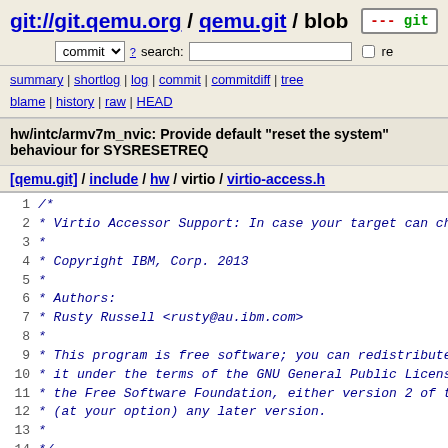git://git.qemu.org / qemu.git / blob
commit search: re
summary | shortlog | log | commit | commitdiff | tree blame | history | raw | HEAD
hw/intc/armv7m_nvic: Provide default "reset the system" behaviour for SYSRESETREQ
[qemu.git] / include / hw / virtio / virtio-access.h
[Figure (screenshot): Source code viewer showing virtio-access.h file lines 1-18, with line numbers and code in monospace italic blue font. Lines 1-14 show a C comment block with copyright and license info. Lines 16-17 show #ifndef QEMU_VIRTIO_ACCESS_H and #define QEMU_VIRTIO_ACCESS_H.]